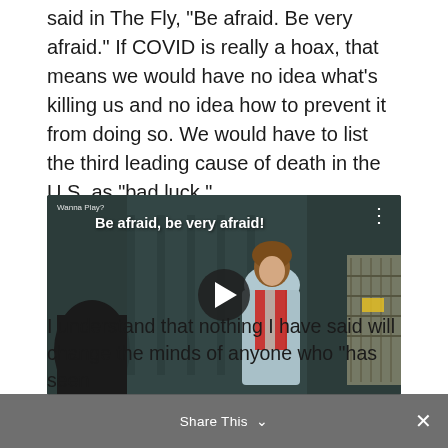defend against. Otherwise, as Geena Davis said in The Fly, "Be afraid. Be very afraid." If COVID is really a hoax, that means we would have no idea what's killing us and no idea how to prevent it from doing so. We would have to list the third leading cause of death in the U.S. as "bad luck."
[Figure (screenshot): Embedded video screenshot from The Fly movie scene showing a woman in a grey coat with red plaid scarf. Title text reads 'Be afraid, be very afraid!' with a play button overlay. Label shows 'Wanna Play?' in top left corner.]
I understand that nothing I have said will change the minds of anyone who "has seen
Share This ∨  ✕